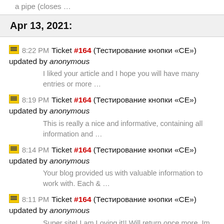a pipe (closes …
Apr 13, 2021:
8:22 PM Ticket #164 (Тестирование кнопки «СЕ») updated by anonymous
I liked your article and I hope you will have many entries or more …
8:19 PM Ticket #164 (Тестирование кнопки «СЕ») updated by anonymous
This is really a nice and informative, containing all information and …
8:14 PM Ticket #164 (Тестирование кнопки «СЕ») updated by anonymous
Your blog provided us with valuable information to work with. Each & …
8:11 PM Ticket #164 (Тестирование кнопки «СЕ») updated by anonymous
Super site! I am Loving it!! Will return once more, Im taking